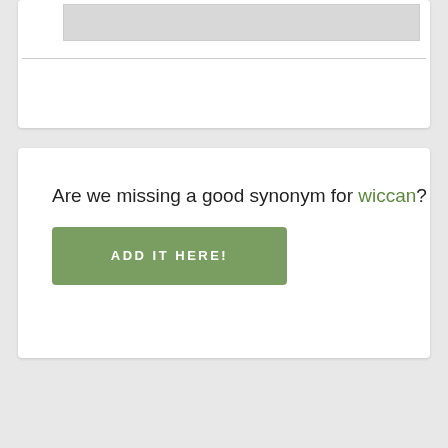[Figure (screenshot): Top portion of a web card with a gray image placeholder and a horizontal divider line]
Are we missing a good synonym for wiccan?
[Figure (other): Green button labeled ADD IT HERE!]